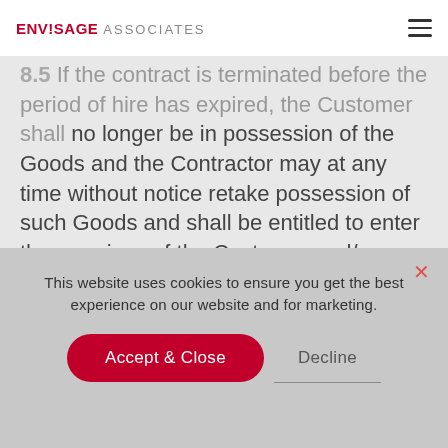ENVISAGE ASSOCIATES
8.5 If the contract is terminated before the period of hire has expired, the Customer shall no longer be in possession of the Goods and the Contractor may at any time without notice retake possession of such Goods and shall be entitled to enter the premises of the Customer and/or any other place of performance of Contract Work, for such purposes.
This website uses cookies to ensure you get the best experience on our website and for marketing.
Accept & Close
Decline